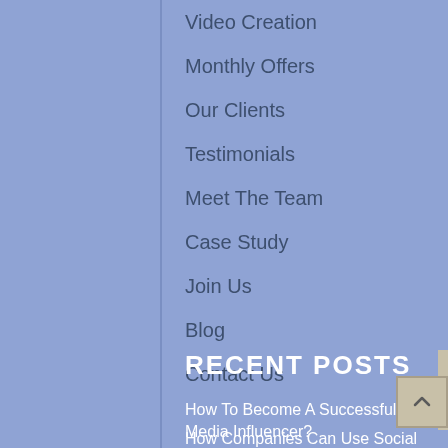Video Creation
Monthly Offers
Our Clients
Testimonials
Meet The Team
Case Study
Join Us
Blog
Contact Us
RECENT POSTS
How To Become A Successful Social Media Influencer?
How Companies Can Use Social Sharing To